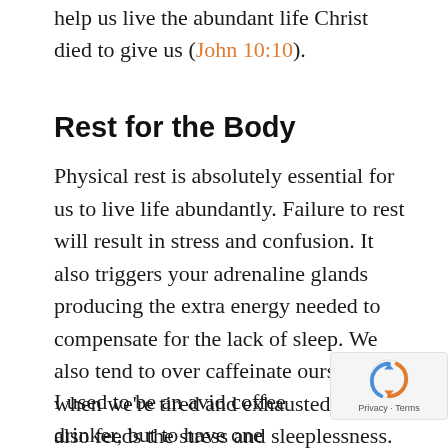help us live the abundant life Christ died to give us (John 10:10).
Rest for the Body
Physical rest is absolutely essential for us to live life abundantly. Failure to rest will result in stress and confusion. It also triggers your adrenaline glands producing the extra energy needed to compensate for the lack of sleep. We also tend to over caffeinate ourselves when we're tired and exhausted, which also feeds the stress and sleeplessness.
I used to be an avid coffee drinker, but to have one cup of tea in the morning and one time one cup of tea before bed to...